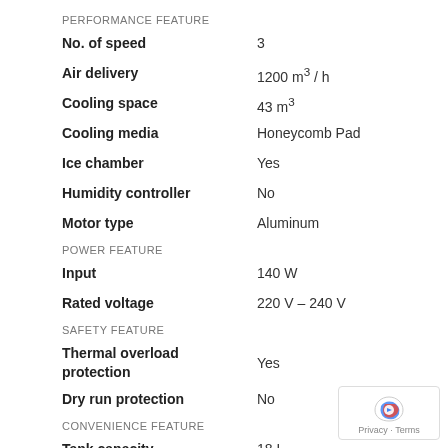PERFORMANCE FEATURE
No. of speed: 3
Air delivery: 1200 m³ / h
Cooling space: 43 m³
Cooling media: Honeycomb Pad
Ice chamber: Yes
Humidity controller: No
Motor type: Aluminum
POWER FEATURE
Input: 140 W
Rated voltage: 220 V – 240 V
SAFETY FEATURE
Thermal overload protection: Yes
Dry run protection: No
CONVENIENCE FEATURE
Tank capacity: 18 L